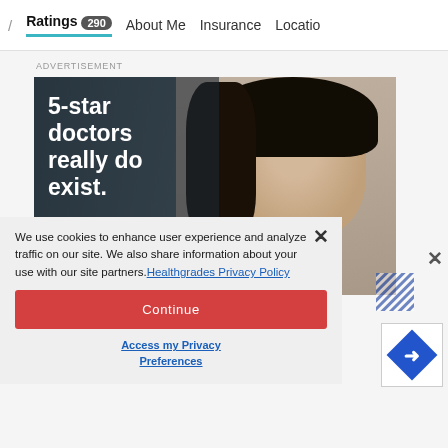/ Ratings 290 About Me Insurance Location
ADVERTISEMENT
[Figure (photo): Advertisement banner showing a smiling Asian woman in a blazer with white bold text reading '5-star doctors really do exist.' and a red 'Find Yours Today' button]
We use cookies to enhance user experience and analyze traffic on our site. We also share information about your use with our site partners. Healthgrades Privacy Policy
Continue
Access my Privacy Preferences